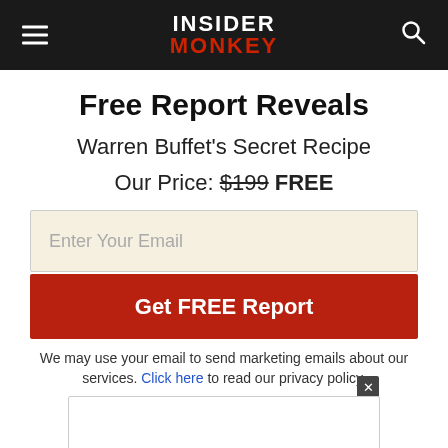INSIDER MONKEY
Free Report Reveals
Warren Buffet's Secret Recipe
Our Price: $199 FREE
Enter Your Email
Get FREE Report
We may use your email to send marketing emails about our services. Click here to read our privacy policy.